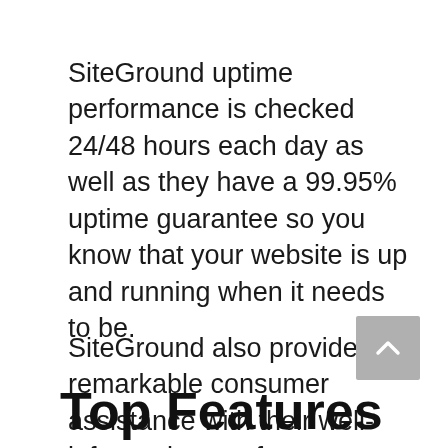SiteGround uptime performance is checked 24/48 hours each day as well as they have a 99.95% uptime guarantee so you know that your website is up and running when it needs to be.
SiteGround also provides remarkable consumer assistance with their well-informed team, fast response time, and also live conversation schedule. SiteGround uses dependable hosting bundles for all types of sites at an economical price factor.
Top Features